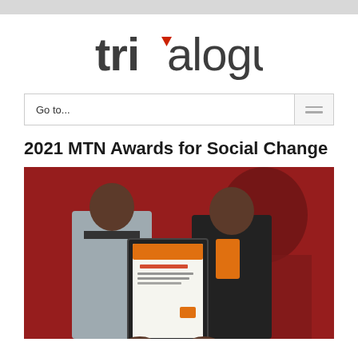[Figure (logo): Trialogue logo in dark gray with a red triangle accent on the 'i']
Go to...
2021 MTN Awards for Social Change
[Figure (photo): Two women standing together holding a framed award certificate. Background is a red banner with faces. One woman wears a gray blazer, the other wears a black jacket with orange scarf.]